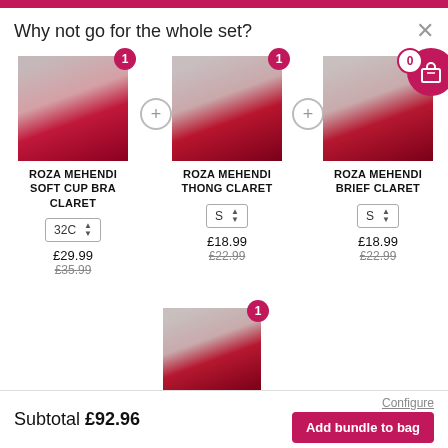Why not go for the whole set?
[Figure (screenshot): Product listing UI showing three lingerie items: ROZA MEHENDI SOFT CUP BRA CLARET (32C, £29.99, was £35.99), ROZA MEHENDI THONG CLARET (S, £18.99, was £22.99), ROZA MEHENDI BRIEF CLARET (S, £18.99, was £22.99) with quantity badges and size selectors]
ROZA MEHENDI SOFT CUP BRA CLARET
32C
£29.99
£35.99
ROZA MEHENDI THONG CLARET
S
£18.99
£22.99
ROZA MEHENDI BRIEF CLARET
S
£18.99
£22.99
Subtotal £92.96
Configure
Add bundle to bag